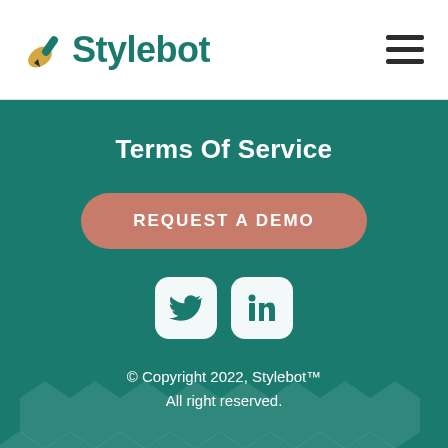Stylebot
Terms Of Service
REQUEST A DEMO
[Figure (logo): Twitter and LinkedIn social media icons in white rounded square boxes on teal background]
© Copyright 2022, Stylebot™
All right reserved.